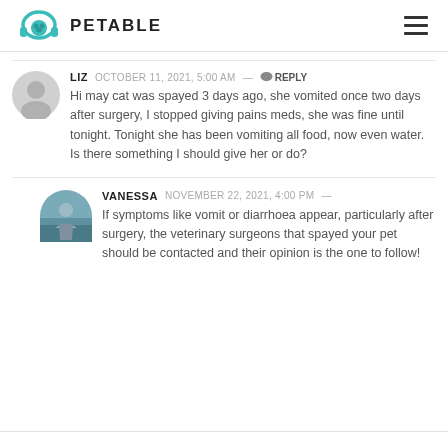PETABLE
LIZ   OCTOBER 11, 2021, 5:00 AM — REPLY
Hi may cat was spayed 3 days ago, she vomited once two days after surgery, I stopped giving pains meds, she was fine until tonight. Tonight she has been vomiting all food, now even water. Is there something I should give her or do?
VANESSA   NOVEMBER 22, 2021, 4:00 PM —
If symptoms like vomit or diarrhoea appear, particularly after surgery, the veterinary surgeons that spayed your pet should be contacted and their opinion is the one to follow!